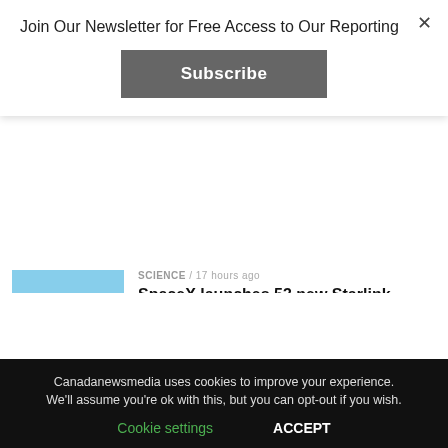Join Our Newsletter for Free Access to Our Reporting
Subscribe
SCIENCE / 17 hours ago
SpaceX launches 53 new Starlink satellites – CGTN
NEWS / 20 hours ago
Emirates Airlines suspends Nigerian flights
SPORTS / 24 hours ago
Canada to play Finland in world junior gold medal game – CBC Sports
Canadanewsmedia uses cookies to improve your experience. We'll assume you're ok with this, but you can opt-out if you wish.
Cookie settings    ACCEPT